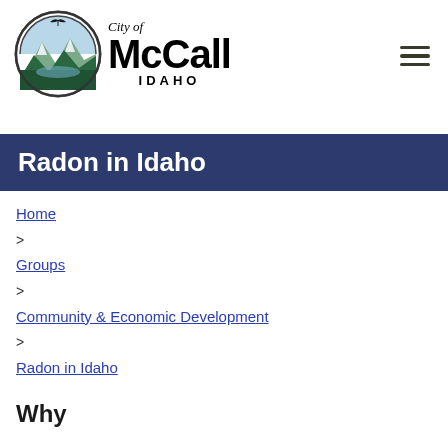[Figure (logo): City of McCall Idaho logo with circular mountain/lake/forest scene and stylized text]
Radon in Idaho
Home > Groups > Community & Economic Development > Radon in Idaho
Why